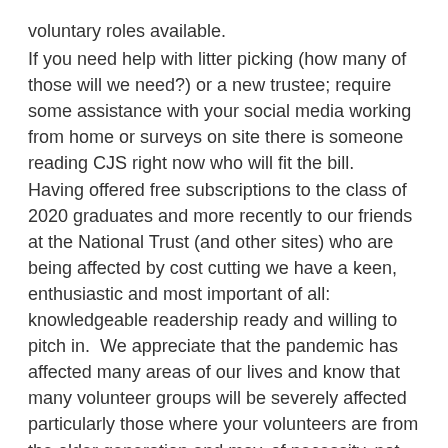voluntary roles available.
If you need help with litter picking (how many of those will we need?) or a new trustee; require some assistance with your social media working from home or surveys on site there is someone reading CJS right now who will fit the bill.  Having offered free subscriptions to the class of 2020 graduates and more recently to our friends at the National Trust (and other sites) who are being affected by cost cutting we have a keen, enthusiastic and most important of all: knowledgeable readership ready and willing to pitch in.  We appreciate that the pandemic has affected many areas of our lives and know that many volunteer groups will be severely affected particularly those where your volunteers are from the older generation and may, of necessity, not be as available to help any more.
If you'd like a free advert submit the details online here.
For even greater coverage you might like to consider